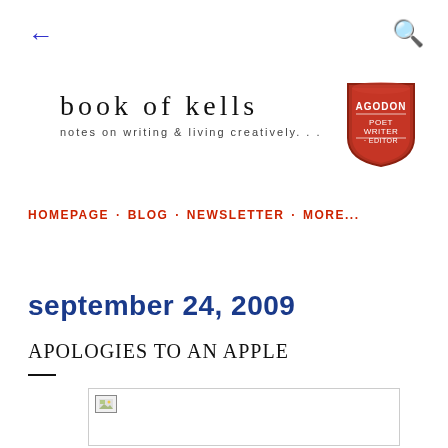← (back navigation) | 🔍 (search)
book of kells
notes on writing & living creatively. . .
[Figure (logo): AGODON badge/shield logo with text AGODON, POET, WRITER, EDITOR in red and white]
HOMEPAGE · BLOG · NEWSLETTER · MORE...
september 24, 2009
APOLOGIES TO AN APPLE
[Figure (photo): Image placeholder for blog post photo]